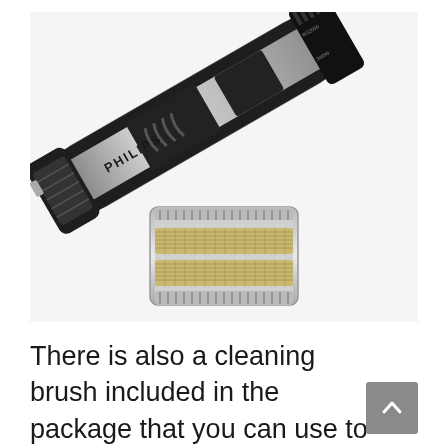[Figure (photo): A Philips body groomer/shaver photographed on a white background. The silver and black device is shown diagonally, with a detached shaver foil head lying below it.]
There is also a cleaning brush included in the package that you can use to clean the hair chamber before rinsing